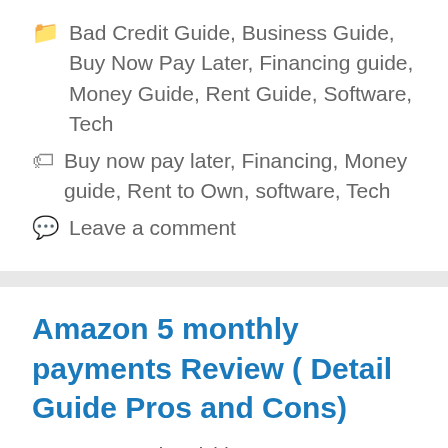📁 Bad Credit Guide, Business Guide, Buy Now Pay Later, Financing guide, Money Guide, Rent Guide, Software, Tech
🏷 Buy now pay later, Financing, Money guide, Rent to Own, software, Tech
💬 Leave a comment
Amazon 5 monthly payments Review ( Detail Guide Pros and Cons)
May 14, 2020 by Sishir
[Figure (photo): Dark banner image with white text reading 'Amazon 5 monthly payments']